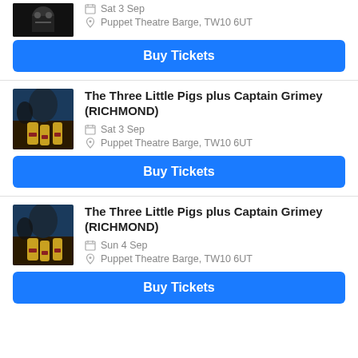[Figure (photo): Puppet theatre face image (partially visible at top)]
Sat 3 Sep
Puppet Theatre Barge, TW10 6UT
Buy Tickets
[Figure (photo): The Three Little Pigs plus Captain Grimey puppet show image]
The Three Little Pigs plus Captain Grimey (RICHMOND)
Sat 3 Sep
Puppet Theatre Barge, TW10 6UT
Buy Tickets
[Figure (photo): The Three Little Pigs plus Captain Grimey puppet show image]
The Three Little Pigs plus Captain Grimey (RICHMOND)
Sun 4 Sep
Puppet Theatre Barge, TW10 6UT
Buy Tickets